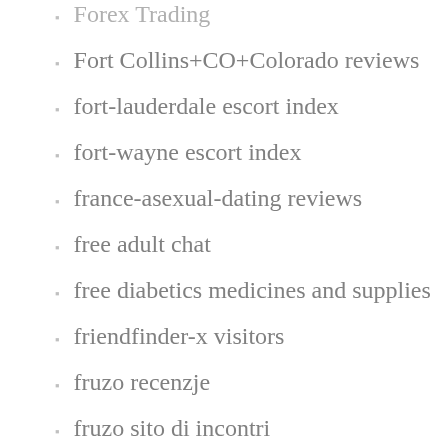Forex Trading
Fort Collins+CO+Colorado reviews
fort-lauderdale escort index
fort-wayne escort index
france-asexual-dating reviews
free adult chat
free diabetics medicines and supplies
friendfinder-x visitors
fruzo recenzje
fruzo sito di incontri
Full Spectrum Cbd Derived From Cannabis Or Hemp
Functional Remedies Cbd Hemp Oil Tincture